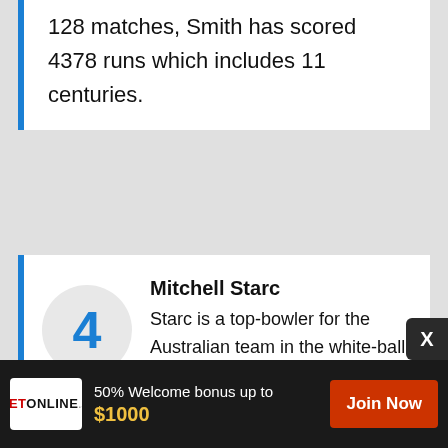128 matches, Smith has scored 4378 runs which includes 11 centuries.
4 Mitchell Starc
Starc is a top-bowler for the Australian team in the white-ball formats. He has always delivered best for the team. The yorker specialist will play his 100th ODI and in 99 ODI
50% Welcome bonus up to $1000